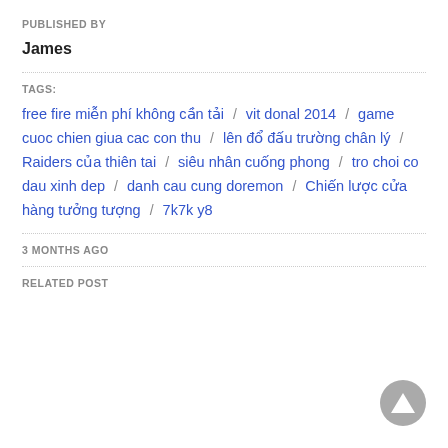PUBLISHED BY
James
TAGS:
free fire miễn phí không cần tải / vit donal 2014 / game cuoc chien giua cac con thu / lên đổ đấu trường chân lý / Raiders của thiên tai / siêu nhân cuống phong / tro choi co dau xinh dep / danh cau cung doremon / Chiến lược cửa hàng tưởng tượng / 7k7k y8
3 MONTHS AGO
RELATED POST